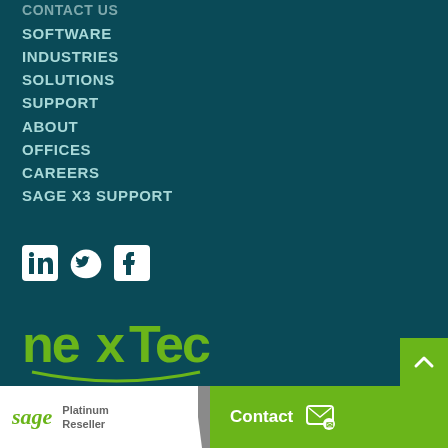CONTACT US
SOFTWARE
INDUSTRIES
SOLUTIONS
SUPPORT
ABOUT
OFFICES
CAREERS
SAGE X3 SUPPORT
[Figure (logo): Social media icons: LinkedIn, Twitter, Facebook]
[Figure (logo): Nextec logo in green on dark teal background]
[Figure (logo): Sage Platinum Reseller badge]
Contact